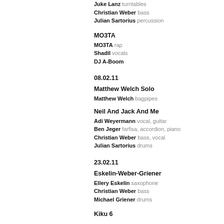Juke Lanz turntables
Christian Weber bass
Julian Sartorius percussion
MO3TA
MO3TA rap
Shadil vocals
DJ A-Boom
08.02.11
Matthew Welch Solo
Matthew Welch bagpipes
Neil And Jack And Me
Adi Weyermann vocal, guitar
Ben Jeger farfisa, accordion, piano
Christian Weber bass, vocal
Julian Sartorius drums
23.02.11
Eskelin-Weber-Griener
Ellery Eskelin saxophone
Christian Weber bass
Michael Griener drums
Kiku 6